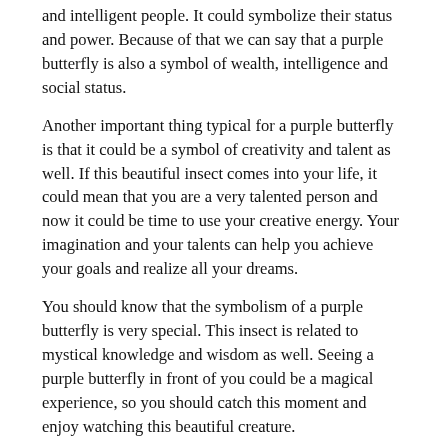and intelligent people. It could symbolize their status and power. Because of that we can say that a purple butterfly is also a symbol of wealth, intelligence and social status.
Another important thing typical for a purple butterfly is that it could be a symbol of creativity and talent as well. If this beautiful insect comes into your life, it could mean that you are a very talented person and now it could be time to use your creative energy. Your imagination and your talents can help you achieve your goals and realize all your dreams.
You should know that the symbolism of a purple butterfly is very special. This insect is related to mystical knowledge and wisdom as well. Seeing a purple butterfly in front of you could be a magical experience, so you should catch this moment and enjoy watching this beautiful creature.